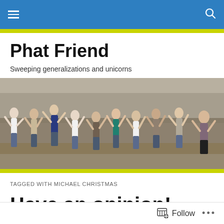Phat Friend
Sweeping generalizations and unicorns
[Figure (photo): Group of approximately ten young women jumping in the air with arms raised, outdoors in front of trees and dry grass ground]
TAGGED WITH MICHAEL CHRISTMAS
Have an opinion! Pick your favorites